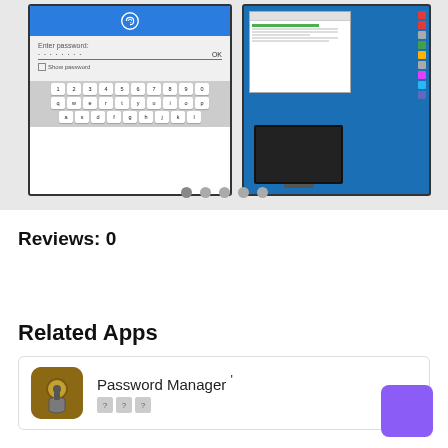[Figure (screenshot): App screenshot carousel showing a mobile password entry screen with fingerprint icon and keyboard, and a desktop password manager interface with blue background and sidebar icons. Five dot indicators below for carousel navigation.]
Reviews: 0
Related Apps
Password Manager '